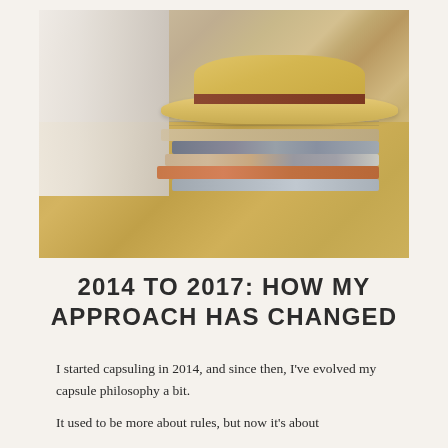[Figure (photo): A stack of neatly folded clothes topped with a straw fedora hat, sitting on a wooden bench or shelf with a white curtain/wall in the background.]
2014 TO 2017: HOW MY APPROACH HAS CHANGED
I started capsuling in 2014, and since then, I've evolved my capsule philosophy a bit.
It used to be more about rules, but now it's about